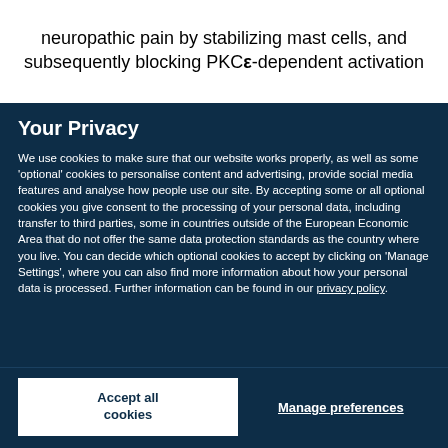neuropathic pain by stabilizing mast cells, and subsequently blocking PKCε-dependent activation
Your Privacy
We use cookies to make sure that our website works properly, as well as some 'optional' cookies to personalise content and advertising, provide social media features and analyse how people use our site. By accepting some or all optional cookies you give consent to the processing of your personal data, including transfer to third parties, some in countries outside of the European Economic Area that do not offer the same data protection standards as the country where you live. You can decide which optional cookies to accept by clicking on 'Manage Settings', where you can also find more information about how your personal data is processed. Further information can be found in our privacy policy.
Accept all cookies
Manage preferences